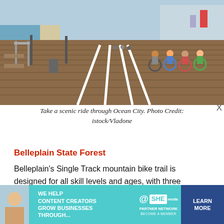[Figure (photo): People riding bicycles on a wide boardwalk with beach and ocean visible on the left, Ocean City boardwalk scene.]
Take a scenic ride through Ocean City. Photo Credit: istock/Vladone
Belleplain State Forest
Belleplain's Single Track mountain bike trail is designed for all skill levels and ages, with three routes to choose from. Routes 2 and 3 are the longest and most technical trails at 7 and 10.5 miles, while the first route is ideal for beginner riders at 4 miles. Belleplain's Track is perfect for sightseeing
[Figure (infographic): Advertisement banner: 'We help content creators grow businesses through...' SHE Media Partner Network - Become a Member. Learn More button.]